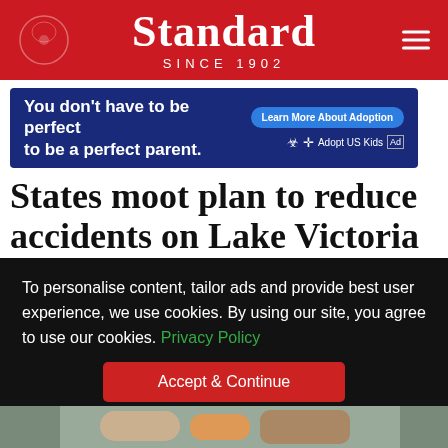Standard SINCE 1902
[Figure (infographic): Advertisement banner: 'You don't have to be perfect to be a perfect parent. Learn More About Adoption. Adopt US Kids']
States moot plan to reduce accidents on Lake Victoria
To personalise content, tailor ads and provide best user experience, we use cookies. By using our site, you agree to use our cookies. Privacy Policy
Accept & Continue
[Figure (photo): Partial photo strip visible at bottom of page]